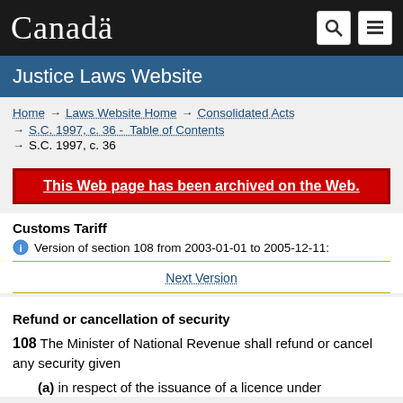Canada
Justice Laws Website
Home → Laws Website Home → Consolidated Acts → S.C. 1997, c. 36 - Table of Contents → S.C. 1997, c. 36
This Web page has been archived on the Web.
Customs Tariff
Version of section 108 from 2003-01-01 to 2005-12-11:
Next Version
Refund or cancellation of security
108 The Minister of National Revenue shall refund or cancel any security given
(a) in respect of the issuance of a licence under